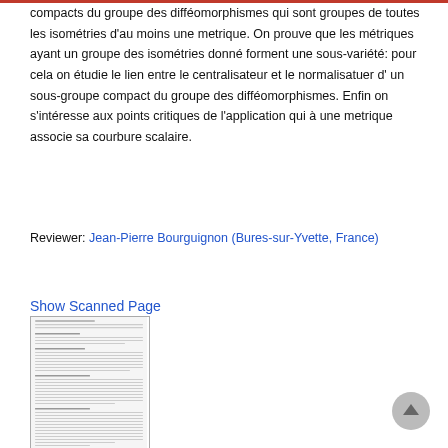compacts du groupe des difféomorphismes qui sont groupes de toutes les isométries d'au moins une metrique. On prouve que les métriques ayant un groupe des isométries donné forment une sous-variété: pour cela on étudie le lien entre le centralisateur et le normalisatuer d' un sous-groupe compact du groupe des difféomorphismes. Enfin on s'intéresse aux points critiques de l'application qui à une metrique associe sa courbure scalaire.
Reviewer: Jean-Pierre Bourguignon (Bures-sur-Yvette, France)
Show Scanned Page
[Figure (screenshot): Thumbnail of a scanned journal page showing dense text in small font, appearing to be a mathematical article or review.]